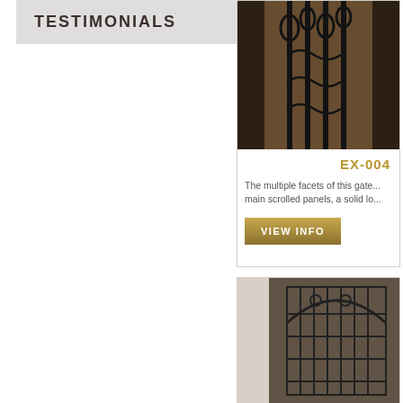TESTIMONIALS
[Figure (photo): Ornamental wrought iron gate with scrollwork design, set in brick entryway]
EX-004
The multiple facets of this gate... main scrolled panels, a solid lo...
VIEW INFO
[Figure (photo): Iron gate with grid pattern and arched top, brick background with decorative scrollwork]